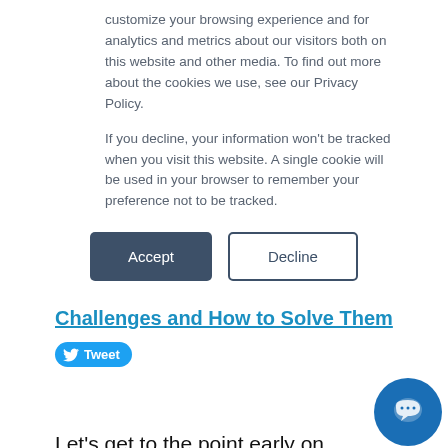customize your browsing experience and for analytics and metrics about our visitors both on this website and other media. To find out more about the cookies we use, see our Privacy Policy.
If you decline, your information won't be tracked when you visit this website. A single cookie will be used in your browser to remember your preference not to be tracked.
Accept | Decline
Challenges and How to Solve Them
[Figure (other): Twitter Tweet button and LinkedIn Share button]
Let's get to the point early on.
Getting EAM / CMMS implementation wrong is expensive and stressful for any sized comp…